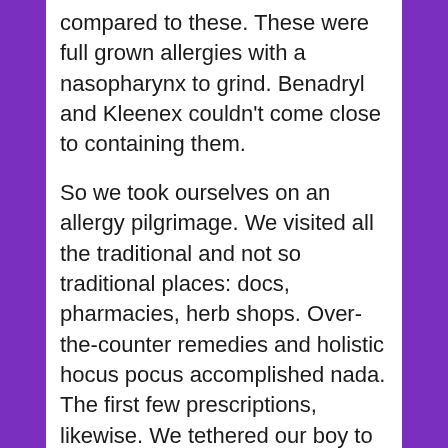compared to these. These were full grown allergies with a nasopharynx to grind. Benadryl and Kleenex couldn't come close to containing them.
So we took ourselves on an allergy pilgrimage. We visited all the traditional and not so traditional places: docs, pharmacies, herb shops. Over-the-counter remedies and holistic hocus pocus accomplished nada. The first few prescriptions, likewise. We tethered our boy to a nebulizer and went through fifteen minutes of treatments three times a day. That's an eternity to a toddler in a tailspin. We were not having fun. And nothing was doing the trick.
Eventually, though, thanks to an exceedingly diligent nurse practitioner, we got an asthma diagnosis and a creative blend of carefully